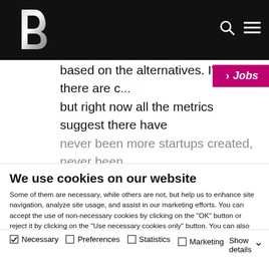B [logo] [search icon] [menu icon]
[Figure (screenshot): Bertelsmann website header with black navigation bar, metallic B logo, search and hamburger menu icons, and a pink/magenta Jobs banner in the top right]
based on the alternatives. I'm sure there are c... but right now all the metrics suggest there have never been more startups created, never been...
We use cookies on our website
Some of them are necessary, while others are not, but help us to enhance site navigation, analyze site usage, and assist in our marketing efforts. You can accept the use of non-necessary cookies by clicking on the "OK" button or reject it by clicking on the "Use necessary cookies only" button. You can also only agree to certain cookie groups (preferences, statistics, marketing) by selecting them and clicking "Allow selection". You can access the cookie settings at any time and also deselect cookies later on at any time. To do so, please go to our Privacy Policy, which contains further information and can be found in the footer of our website. Show Legal.
OK
Allow selection
Use necessary cookies only
Necessary  Preferences  Statistics  Marketing  Show details